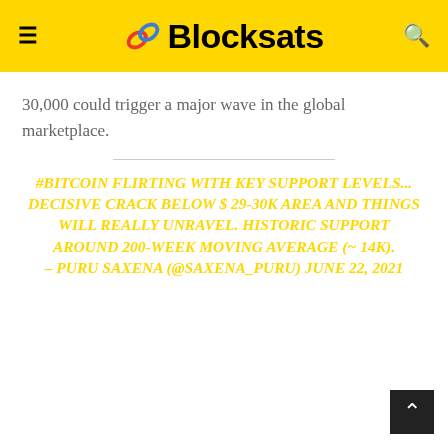Blocksats
30,000 could trigger a major wave in the global marketplace.
#BITCOIN FLIRTING WITH KEY SUPPORT LEVELS... DECISIVE CRACK BELOW $ 29-30K AREA AND THINGS WILL REALLY UNRAVEL. HISTORIC SUPPORT AROUND 200-WEEK MOVING AVERAGE (~ 14K). – PURU SAXENA (@SAXENA_PURU) JUNE 22, 2021